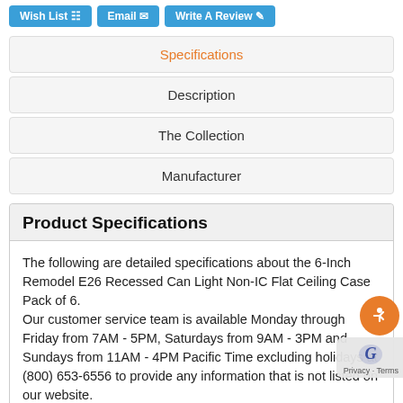Wish List | Email | Write A Review
Specifications
Description
The Collection
Manufacturer
Product Specifications
The following are detailed specifications about the 6-Inch Remodel E26 Recessed Can Light Non-IC Flat Ceiling Case Pack of 6.
Our customer service team is available Monday through Friday from 7AM - 5PM, Saturdays from 9AM - 3PM and Sundays from 11AM - 4PM Pacific Time excluding holidays at (800) 653-6556 to provide any information that is not listed on our website.
Product Number